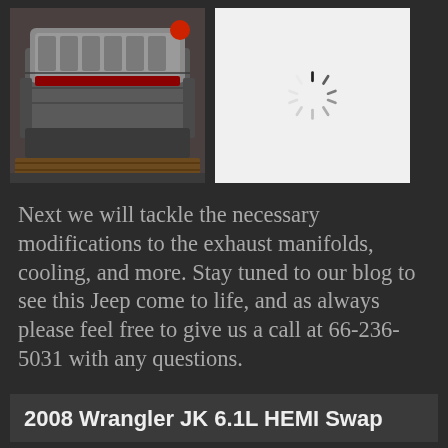[Figure (photo): Photo of a V8 engine (6.1L HEMI) on a pallet, viewed from above/side, silver intake manifold visible]
[Figure (other): White box with a loading spinner icon (gray spokes radiating from center)]
Next we will tackle the necessary modifications to the exhaust manifolds, cooling, and more. Stay tuned to our blog to see this Jeep come to life, and as always please feel free to give us a call at 66-236-5031 with any questions.
2008 Wrangler JK 6.1L HEMI Swap
Tags: 6.1L, Builder, Cleveland Power & Performance, Custom, HEMI, housing, Jeep, Perst SIT 2